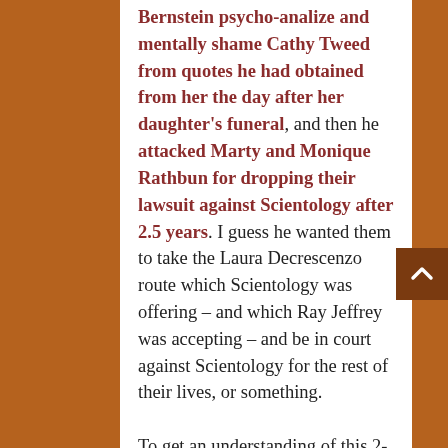Bernstein psycho-analize and mentally shame Cathy Tweed from quotes he had obtained from her the day after her daughter's funeral, and then he attacked Marty and Monique Rathbun for dropping their lawsuit against Scientology after 2.5 years. I guess he wanted them to take the Laura Decrescenzo route which Scientology was offering – and which Ray Jeffrey was accepting – and be in court against Scientology for the rest of their lives, or something.

To get an understanding of this 2-faced nature of Tony Ortega, you can see it in the early pro-Marty Tony, and in the later